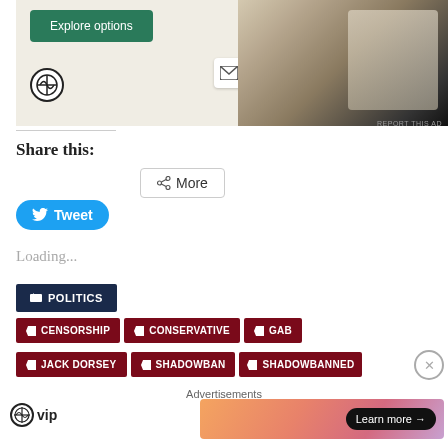[Figure (screenshot): WordPress/food website ad banner with 'Explore options' green button, WordPress logo, email icon, and food images on right side]
REPORT THIS AD
Share this:
[Figure (screenshot): More button with share icon]
[Figure (screenshot): Tweet button with Twitter bird icon]
Loading...
POLITICS
CENSORSHIP
CONSERVATIVE
GAB
JACK DORSEY
SHADOWBAN
SHADOWBANNED
Advertisements
[Figure (logo): WordPress VIP logo]
[Figure (screenshot): Learn more advertisement banner with gradient background and dark Learn more button with arrow]